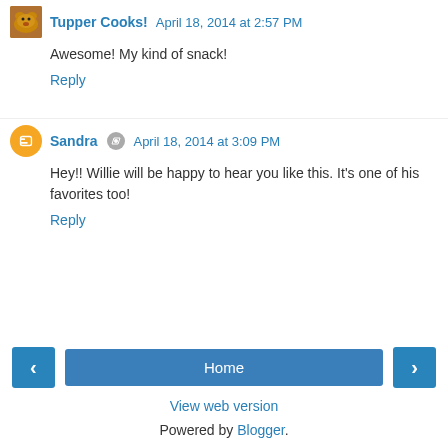Tupper Cooks! April 18, 2014 at 2:57 PM
Awesome! My kind of snack!
Reply
Sandra April 18, 2014 at 3:09 PM
Hey!! Willie will be happy to hear you like this. It's one of his favorites too!
Reply
< Home > View web version Powered by Blogger.